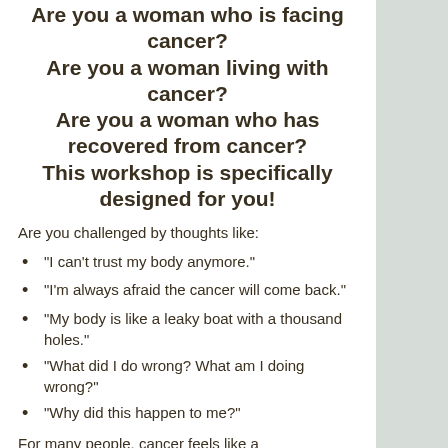Are you a woman who is facing cancer? Are you a woman living with cancer? Are you a woman who has recovered from cancer? This workshop is specifically designed for you!
Are you challenged by thoughts like:
“I can’t trust my body anymore.”
“I’m always afraid the cancer will come back.”
“My body is like a leaky boat with a thousand holes.”
“What did I do wrong? What am I doing wrong?”
“Why did this happen to me?”
For many people, cancer feels like a